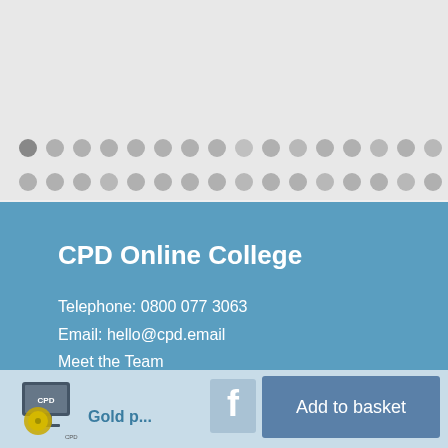[Figure (other): Decorative dot pattern rows on light grey background, two rows of grey/dark grey circles]
CPD Online College
Telephone: 0800 077 3063
Email: hello@cpd.email
Meet the Team
Affiliate login
[Figure (logo): CPD Online College product thumbnail - computer with disc]
Gold p...
[Figure (other): Social media icons: Facebook, Twitter, LinkedIn]
£1,500
+ VAT
Add to basket